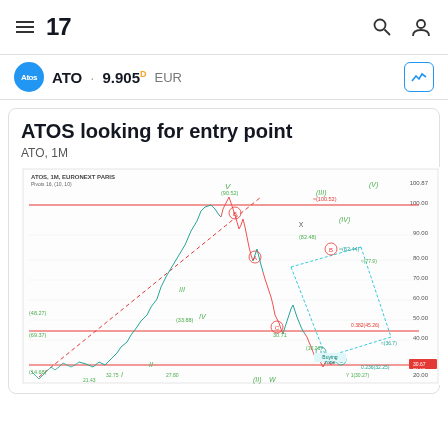TradingView navigation bar with hamburger menu, TV logo, search and user icons
ATO · 9.905 D EUR
ATOS looking for entry point
ATO, 1M
[Figure (continuous-plot): Elliott Wave analysis chart for ATOS (ATO) on 1M timeframe, EURONEXT PARIS. Shows price history with labeled Elliott Wave points (I, II, III, IV, V) and sub-waves (A, B, C, W, X). Key price levels marked: horizontal red resistance lines at ~100 and ~45 levels; price highs labeled around 100.52, 90.52, 82.48, 82.44, 77.9; price lows labeled 69.37, 40.80, 31.88, 27.71, 30.23, 21.2; current price area around 30-35 range. Dashed red trendline from lower left to upper right through wave progression. Cyan/blue dotted lines showing projected wave targets. 'Buying zone' annotation near bottom. Y-axis shows prices from ~20 to 100+.]